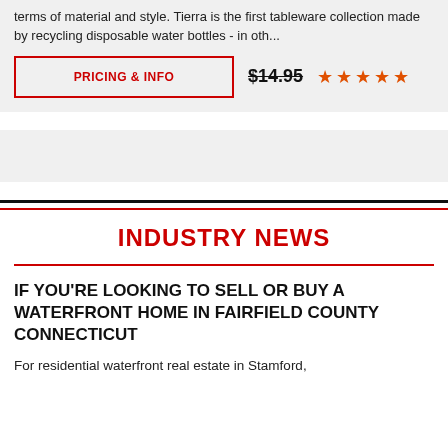terms of material and style. Tierra is the first tableware collection made by recycling disposable water bottles - in oth...
PRICING & INFO
$14.95
[Figure (other): 5 orange/red star rating icons]
[Figure (other): Gray advertisement banner placeholder]
INDUSTRY NEWS
IF YOU'RE LOOKING TO SELL OR BUY A WATERFRONT HOME IN FAIRFIELD COUNTY CONNECTICUT
For residential waterfront real estate in Stamford,